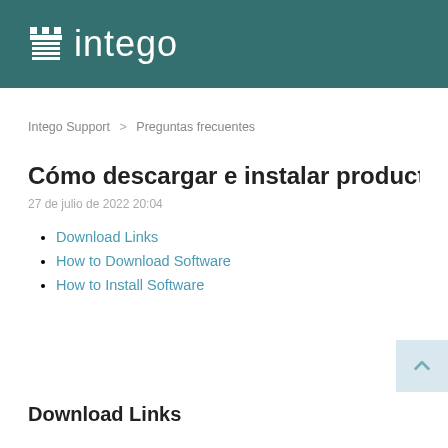intego
Intego Support > Preguntas frecuentes
Cómo descargar e instalar productos de Intego
27 de julio de 2022 20:04
Download Links
How to Download Software
How to Install Software
Download Links